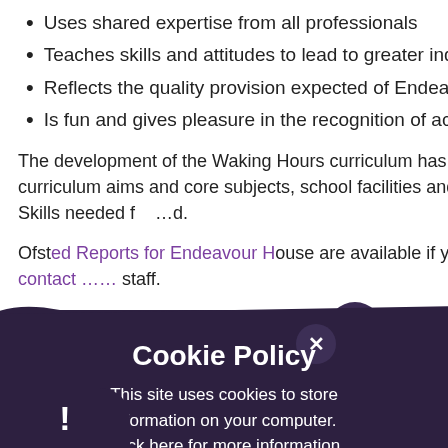Uses shared expertise from all professionals
Teaches skills and attitudes to lead to greater independence
Reflects the quality provision expected of Endeavour Ac…
Is fun and gives pleasure in the recognition of achieveme…
The development of the Waking Hours curriculum has taken i… curriculum aims and core subjects, school facilities and Life Skills needed f… …d.
Ofsted Reports for Endeavour House are available if you contact … staff.
[Figure (screenshot): Cookie Policy popup overlay on dark rounded background with title 'Cookie Policy', text 'This site uses cookies to store information on your computer. Click here for more information', and two buttons: 'Allow Cookies' and 'Deny Cookies'. A close (×) button appears at the top. A PDF button stub appears to the right. A dark bar with exclamation mark appears at the bottom left.]